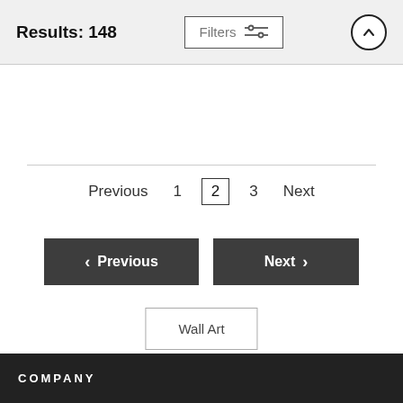Results: 148  Filters
Previous  1  2  3  Next
< Previous   Next >
Wall Art
COMPANY